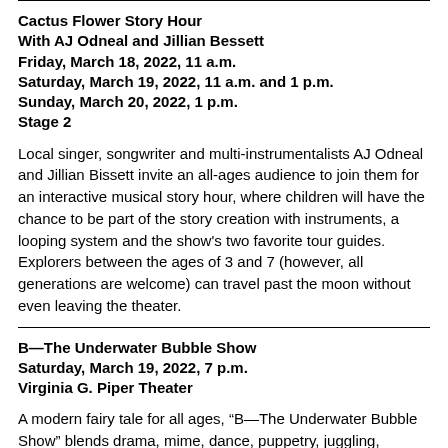Cactus Flower Story Hour
With AJ Odneal and Jillian Bessett
Friday, March 18, 2022, 11 a.m.
Saturday, March 19, 2022, 11 a.m. and 1 p.m.
Sunday, March 20, 2022, 1 p.m.
Stage 2
Local singer, songwriter and multi-instrumentalists AJ Odneal and Jillian Bissett invite an all-ages audience to join them for an interactive musical story hour, where children will have the chance to be part of the story creation with instruments, a looping system and the show’s two favorite tour guides. Explorers between the ages of 3 and 7 (however, all generations are welcome) can travel past the moon without even leaving the theater.
B—The Underwater Bubble Show
Saturday, March 19, 2022, 7 p.m.
Virginia G. Piper Theater
A modern fairy tale for all ages, “B—The Underwater Bubble Show” blends drama, mime, dance, puppetry, juggling, contortionism, sand art and magic with the amazing beauty of soap bubbles for a